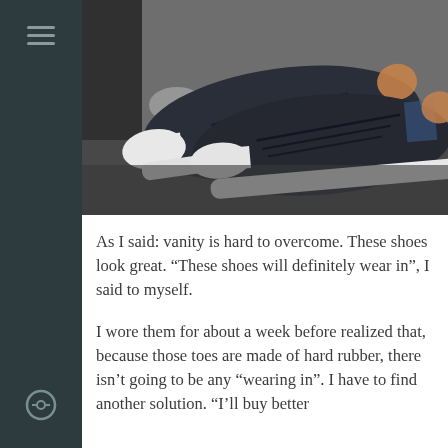[Figure (photo): Two dark navy/black sneakers with white rubber toe caps and white soles, displayed on a dark surface with blurred colorful background items]
As I said: vanity is hard to overcome. These shoes look great. “These shoes will definitely wear in”, I said to myself.
I wore them for about a week before realized that, because those toes are made of hard rubber, there isn’t going to be any “wearing in”. I have to find another solution. “I’ll buy better